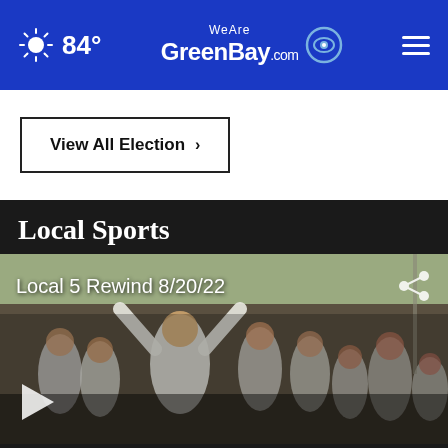84° WeAreGreenBay.com
View All Election ›
Local Sports
[Figure (photo): Video thumbnail showing a crowd of young people in white shirts celebrating at a sports event, with text overlay 'Local 5 Rewind 8/20/22' and a play button at the bottom left.]